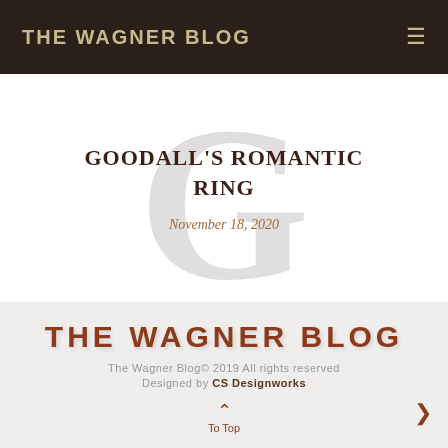THE WAGNER BLOG
GOODALL'S ROMANTIC RING
November 18, 2020
THE WAGNER BLOG
The Wagner Blog© 2019 All rights reserved
Designed by CS Designworks
To Top